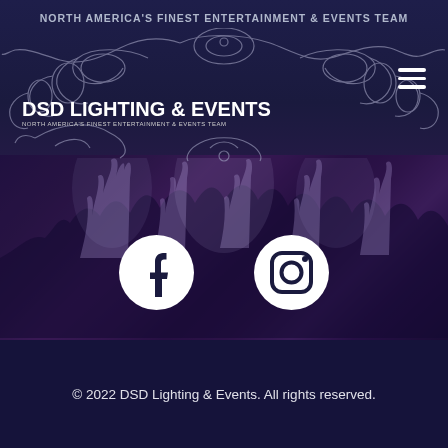NORTH AMERICA'S FINEST ENTERTAINMENT & EVENTS TEAM
[Figure (logo): DSD Lighting & Events logo with decorative ornamental swirl design and company name]
[Figure (photo): Crowd of people at an event/concert with hands raised, purple/blue lighting, dark atmosphere]
[Figure (infographic): Facebook and Instagram social media icons (white circles with logos) overlaid on concert photo]
© 2022 DSD Lighting & Events. All rights reserved.